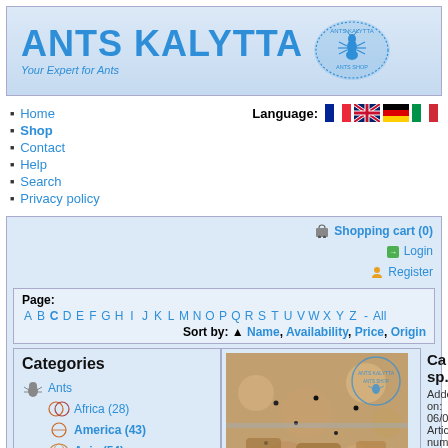[Figure (logo): Ants Kalytta logo with blue bold text and ant icon, tagline 'Your Expert for Ants']
Home
Shop
Contact
Help
Search
Privacy policy
Language: [flags: French, English, German, Italian]
Shopping cart (0)
Login
Register
Page: A B C D E F G H I J K L M N O P Q R S T U V W X Y Z - All
Sort by: ▲ Name, Availability, Price, Origin
Categories
Ants
Africa (28)
America (43)
Asia (54)
Australia (19)
Europe (50)
Miscellaneous (2)
[Figure (photo): Close-up photo of ants in sand/substrate inside a container, with Ants Kalytta watermark]
Ca... sp. Added on: 06/07... Article num... casp... This Ca... spe...